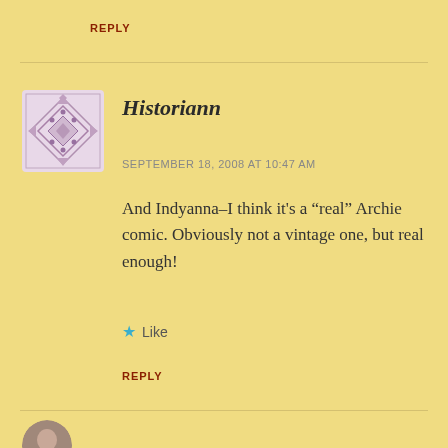REPLY
Historiann
SEPTEMBER 18, 2008 AT 10:47 AM
And Indyanna–I think it's a “real” Archie comic. Obviously not a vintage one, but real enough!
Like
REPLY